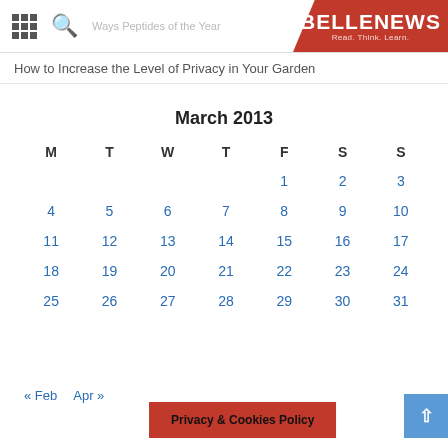BELLENEWS — Read. Think. Learn.
How to Increase the Level of Privacy in Your Garden
| M | T | W | T | F | S | S |
| --- | --- | --- | --- | --- | --- | --- |
|  |  |  |  | 1 | 2 | 3 |
| 4 | 5 | 6 | 7 | 8 | 9 | 10 |
| 11 | 12 | 13 | 14 | 15 | 16 | 17 |
| 18 | 19 | 20 | 21 | 22 | 23 | 24 |
| 25 | 26 | 27 | 28 | 29 | 30 | 31 |
« Feb    Apr »
Privacy & Cookies Policy